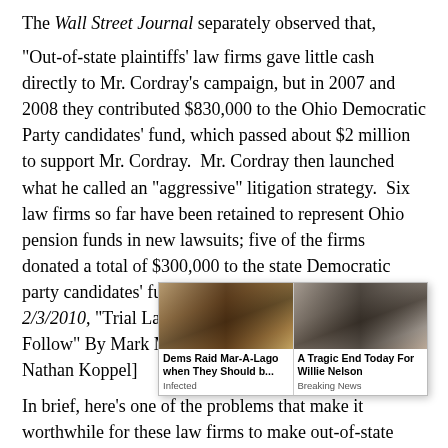The Wall Street Journal separately observed that,
"Out-of-state plaintiffs' law firms gave little cash directly to Mr. Cordray's campaign, but in 2007 and 2008 they contributed $830,000 to the Ohio Democratic Party candidates' fund, which passed about $2 million to support Mr. Cordray.  Mr. Cordray then launched what he called an "aggressive" litigation strategy.  Six law firms so far have been retained to represent Ohio pension funds in new lawsuits; five of the firms donated a total of $300,000 to the state Democratic party candidates' fund in 2008." [Wall Street Journal, 2/3/2010, "Trial Lawyers Contribute, Shareholder Suits Follow" By Mark Maremont, Tom McGinty and Nathan Koppel]
In brief, here's one of the problems that make it worthwhile for these law firms to make out-of-state campaign contributions: when a state attorney general is investigating a company, the price of the company's stock will drop.  Each such case will usually be followed by a lawsuit filed by plaintiffs' firms, who allege th...
[Figure (screenshot): Two online advertisement overlays: left ad shows 'Dems Raid Mar-A-Lago when They Should b...' with source 'Infected'; right ad shows 'A Tragic End Today For Willie Nelson' with source 'Breaking News'. A close (x) button appears at top right.]